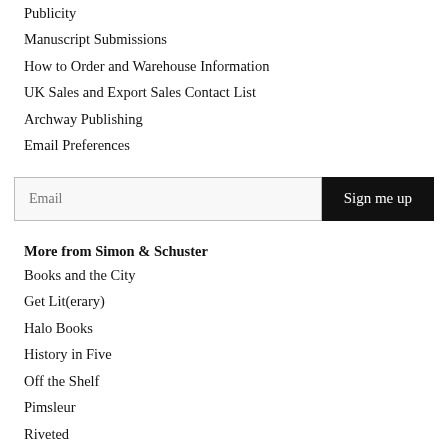Publicity
Manuscript Submissions
How to Order and Warehouse Information
UK Sales and Export Sales Contact List
Archway Publishing
Email Preferences
More from Simon & Schuster
Books and the City
Get Lit(erary)
Halo Books
History in Five
Off the Shelf
Pimsleur
Riveted
Star Trek Books